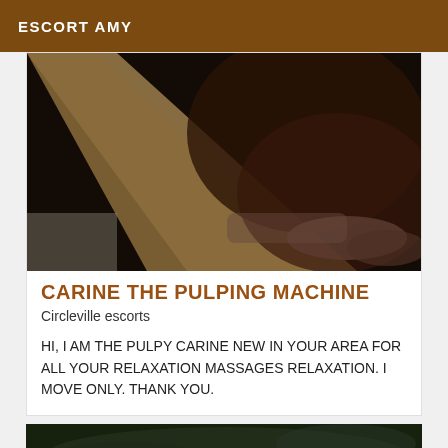ESCORT AMY
[Figure (photo): Close-up dark photo showing hands and a wooden object, dimly lit with dark tones]
CARINE THE PULPING MACHINE
Circleville escorts
HI, I AM THE PULPY CARINE NEW IN YOUR AREA FOR ALL YOUR RELAXATION MASSAGES RELAXATION. I MOVE ONLY. THANK YOU.
[Figure (photo): Partial view of a second listing photo, dark greenish background, bottom of page]